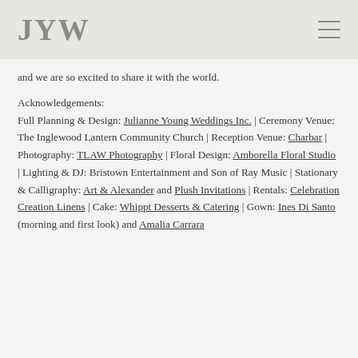JYW
and we are so excited to share it with the world.
Acknowledgements: Full Planning & Design: Julianne Young Weddings Inc. | Ceremony Venue: The Inglewood Lantern Community Church | Reception Venue: Charbar | Photography: TLAW Photography | Floral Design: Amborella Floral Studio | Lighting & DJ: Bristown Entertainment and Son of Ray Music | Stationary & Calligraphy: Art & Alexander and Plush Invitations | Rentals: Celebration Creation Linens | Cake: Whippt Desserts & Catering | Gown: Ines Di Santo (morning and first look) and Amalia Carrara